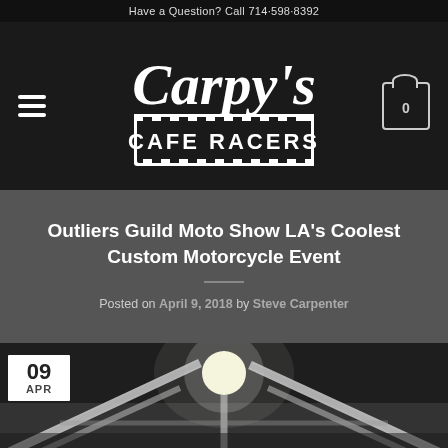Have a Question? Call 714-598-8392
[Figure (logo): Carpy's Cafe Racers logo — white cursive script 'Carpy's' above a checkered-border rectangle reading 'CAFE RACERS' in block letters, on a dark background]
Outliers Guild Moto Show LA's Coolest Custom Motorcycle Event
Posted on April 9, 2018 by Steve Carpenter
[Figure (photo): Interior of an industrial building showing white structural beams/rafters on a dark ceiling with a bright light visible, photographed from below. A small white date badge in lower left reads '09 APR'.]